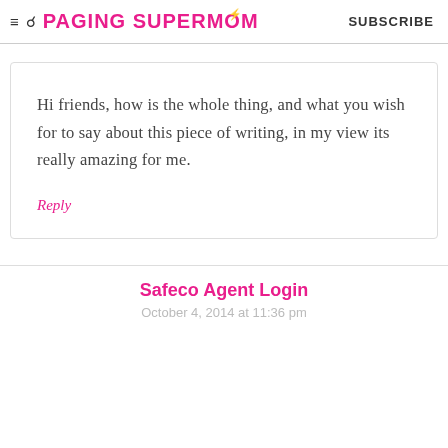≡ 🔍 PAGING SUPERMOM   SUBSCRIBE
Hi friends, how is the whole thing, and what you wish for to say about this piece of writing, in my view its really amazing for me.
Reply
Safeco Agent Login
October 4, 2014 at 11:36 pm